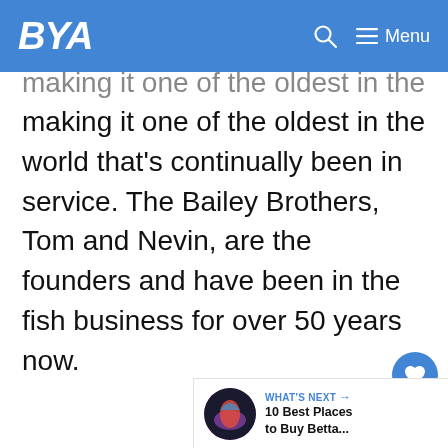BYA — Menu
making it one of the oldest in the world that's continually been in service. The Bailey Brothers, Tom and Nevin, are the founders and have been in the fish business for over 50 years now.
[Figure (other): Heart/like button circle (blue) with count 7, and share button circle below]
[Figure (other): What's Next panel with betta fish thumbnail and text '10 Best Places to Buy Betta...']